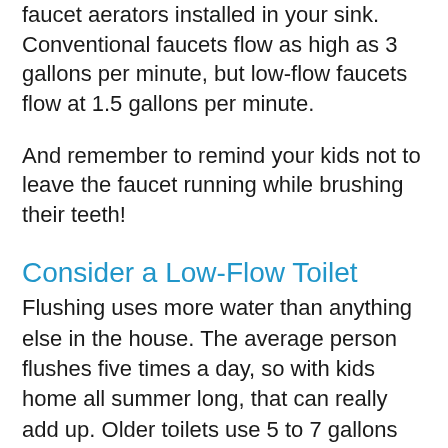faucet aerators installed in your sink. Conventional faucets flow as high as 3 gallons per minute, but low-flow faucets flow at 1.5 gallons per minute.
And remember to remind your kids not to leave the faucet running while brushing their teeth!
Consider a Low-Flow Toilet
Flushing uses more water than anything else in the house. The average person flushes five times a day, so with kids home all summer long, that can really add up. Older toilets use 5 to 7 gallons per flush, but low-flow models use as little as 1.6 gallons.
Call Putman Plumbing in Frederick County